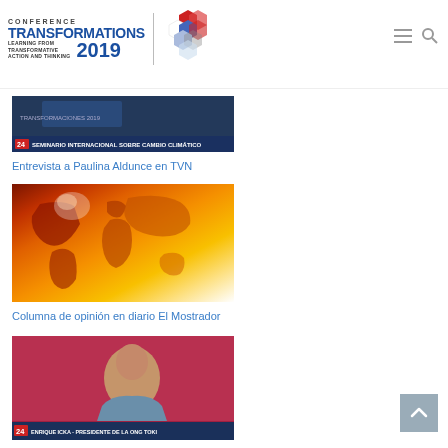[Figure (logo): Conference Transformations 2019 logo with hexagonal geometric shape in red, white and blue]
[Figure (screenshot): TV screenshot showing '24' channel with text 'SEMINARIO INTERNACIONAL SOBRE CAMBIO CLIMATICO']
Entrevista a Paulina Aldunce en TVN
[Figure (map): World heatmap showing global temperature data with orange/red color scale]
Columna de opinión en diario El Mostrador
[Figure (screenshot): TV screenshot showing man identified as 'ENRIQUE ICKA - PRESIDENTE DE LA ONG TOKI' on channel 24]